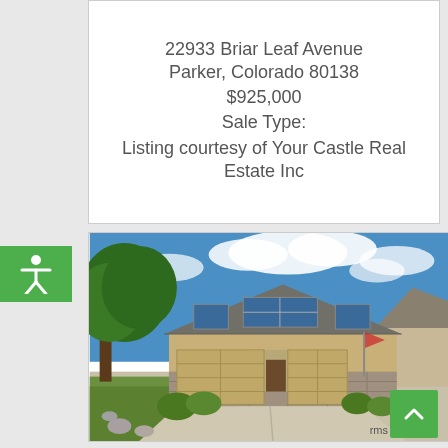22933 Briar Leaf Avenue
Parker, Colorado 80138
$925,000
Sale Type:
Listing courtesy of Your Castle Real Estate Inc
[Figure (photo): Exterior photo of a two-story craftsman-style house with tan/beige siding, stone accents, three-car garage, blue sky with white clouds, green trees and landscaping in foreground]